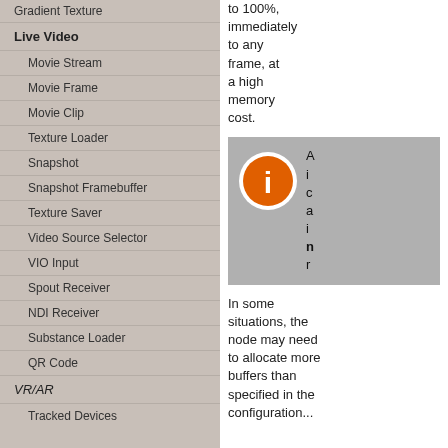Gradient Texture
Live Video
Movie Stream
Movie Frame
Movie Clip
Texture Loader
Snapshot
Snapshot Framebuffer
Texture Saver
Video Source Selector
VIO Input
Spout Receiver
NDI Receiver
Substance Loader
QR Code
VR/AR
Tracked Devices
to 100%, immediately to any frame, at a high memory cost.
[Figure (infographic): Info box with orange 'i' icon and partially visible text on grey background]
In some situations, the node may need to allocate more buffers than specified in the configuration...